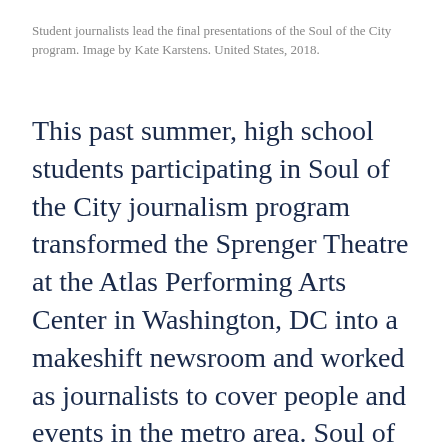Student journalists lead the final presentations of the Soul of the City program. Image by Kate Karstens. United States, 2018.
This past summer, high school students participating in Soul of the City journalism program transformed the Sprenger Theatre at the Atlas Performing Arts Center in Washington, DC into a makeshift newsroom and worked as journalists to cover people and events in the metro area. Soul of the City, a six-week summer youth leadership initiative organized by Humanities DC and supported by the Pulitzer Prize Board, uses the “soul” of Washington, DC—shaped by its neighborhoods, residents, and culture—as a resource for students to develop